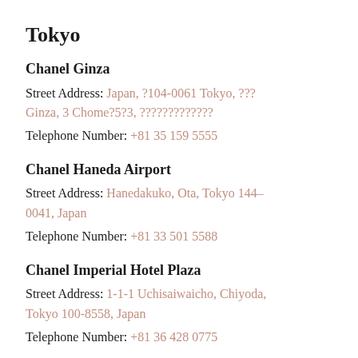Tokyo
Chanel Ginza
Street Address: Japan, ?104-0061 Tokyo, ??? Ginza, 3 Chome?5?3, ?????????????
Telephone Number: +81 35 159 5555
Chanel Haneda Airport
Street Address: Hanedakuko, Ota, Tokyo 144-0041, Japan
Telephone Number: +81 33 501 5588
Chanel Imperial Hotel Plaza
Street Address: 1-1-1 Uchisaiwaicho, Chiyoda, Tokyo 100-8558, Japan
Telephone Number: +81 36 428 0775